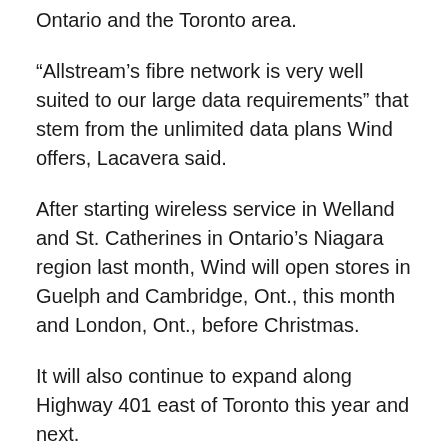Ontario and the Toronto area.
“Allstream’s fibre network is very well suited to our large data requirements” that stem from the unlimited data plans Wind offers, Lacavera said.
After starting wireless service in Welland and St. Catherines in Ontario’s Niagara region last month, Wind will open stores in Guelph and Cambridge, Ont., this month and London, Ont., before Christmas.
It will also continue to expand along Highway 401 east of Toronto this year and next.
Next year will see Wind start service in Nova Scotia (Halifax), Manitoba (Winnipeg) and Saskatchewan (Saskatoon), and expand its Vancouver beachhead to cover the lower B.C. mainland.